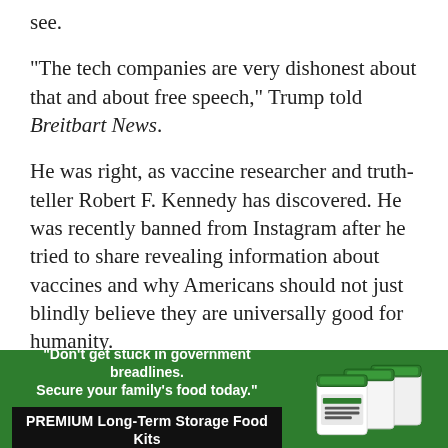see.
“The tech companies are very dishonest about that and about free speech,” Trump told Breitbart News.
He was right, as vaccine researcher and truth-teller Robert F. Kennedy has discovered. He was recently banned from Instagram after he tried to share revealing information about vaccines and why Americans should not just blindly believe they are universally good for humanity.
[Figure (infographic): Green advertisement banner for Premium Long-Term Storage Food Kits with text: 'Don't get stuck in government breadlines. Secure your family's food today.' and product image of white storage buckets with green lids.]